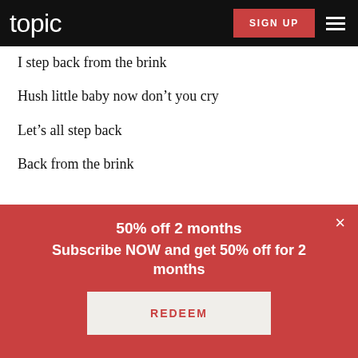topic | SIGN UP
I step back from the brink
Hush little baby now don't you cry
Let's all step back
Back from the brink
50% off 2 months
Subscribe NOW and get 50% off for 2 months
REDEEM